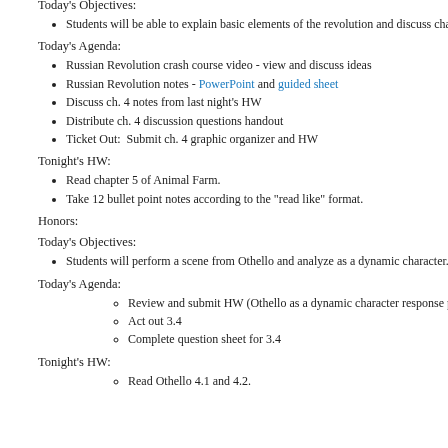Today's Objectives:
Students will be able to explain basic elements of the revolution and discuss chapter 4.
Today's Agenda:
Russian Revolution crash course video - view and discuss ideas
Russian Revolution notes - PowerPoint and guided sheet
Discuss ch. 4 notes from last night's HW
Distribute ch. 4 discussion questions handout
Ticket Out:  Submit ch. 4 graphic organizer and HW
Tonight's HW:
Read chapter 5 of Animal Farm.
Take 12 bullet point notes according to the "read like" format.
Honors:
Today's Objectives:
Students will perform a scene from Othello and analyze as a dynamic character.
Today's Agenda:
Review and submit HW (Othello as a dynamic character response paper)
Act out 3.4
Complete question sheet for 3.4
Tonight's HW:
Read Othello 4.1 and 4.2.